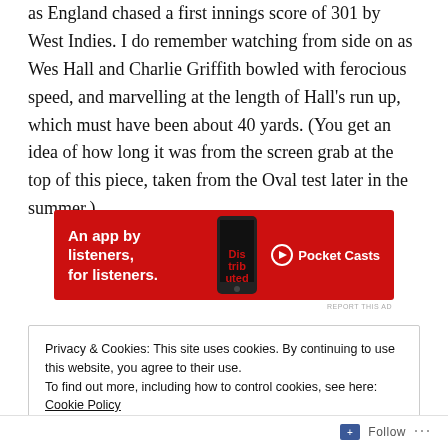as England chased a first innings score of 301 by West Indies. I do remember watching from side on as Wes Hall and Charlie Griffith bowled with ferocious speed, and marvelling at the length of Hall's run up, which must have been about 40 yards. (You get an idea of how long it was from the screen grab at the top of this piece, taken from the Oval test later in the summer.)
[Figure (other): Pocket Casts advertisement banner: red background with text 'An app by listeners, for listeners.' and Pocket Casts logo on the right, phone image in the center.]
Privacy & Cookies: This site uses cookies. By continuing to use this website, you agree to their use.
To find out more, including how to control cookies, see here: Cookie Policy
Close and accept